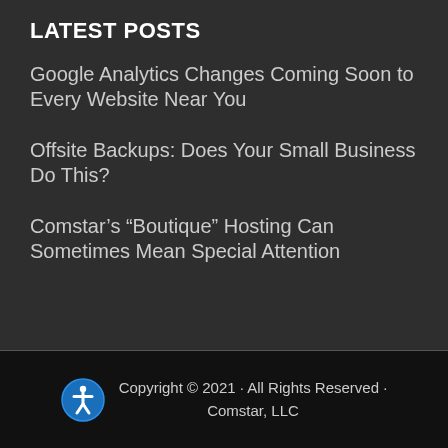LATEST POSTS
Google Analytics Changes Coming Soon to Every Website Near You
Offsite Backups: Does Your Small Business Do This?
Comstar’s “Boutique” Hosting Can Sometimes Mean Special Attention
Copyright © 2021 · All Rights Reserved · Comstar, LLC